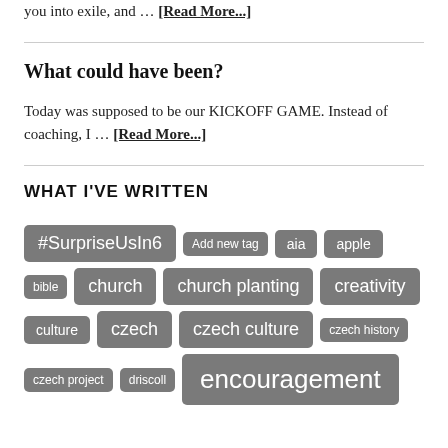you into exile, and … [Read More...]
What could have been?
Today was supposed to be our KICKOFF GAME. Instead of coaching, I … [Read More...]
WHAT I'VE WRITTEN
#SurpriseUsIn6  Add new tag  aia  apple  bible  church  church planting  creativity  culture  czech  czech culture  czech history  czech project  driscoll  encouragement